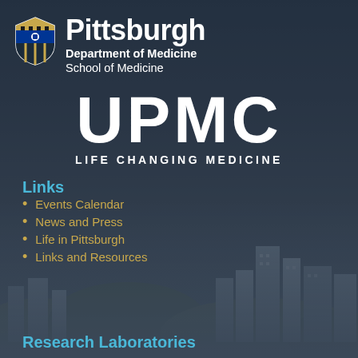[Figure (logo): University of Pittsburgh shield logo with gold and blue colors]
Pittsburgh
Department of Medicine
School of Medicine
[Figure (logo): UPMC logo in large white bold letters]
LIFE CHANGING MEDICINE
Links
Events Calendar
News and Press
Life in Pittsburgh
Links and Resources
Research Laboratories
[Figure (photo): Pittsburgh cityscape background photo showing downtown buildings against a cloudy sky]